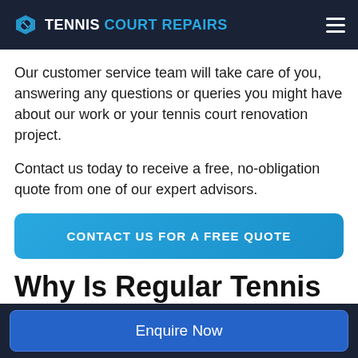TENNIS COURT REPAIRS
Our customer service team will take care of you, answering any questions or queries you might have about our work or your tennis court renovation project.
Contact us today to receive a free, no-obligation quote from one of our expert advisors.
CONTACT US FOR A FREE QUOTE
Why Is Regular Tennis Court Maintenance
Enquire Now